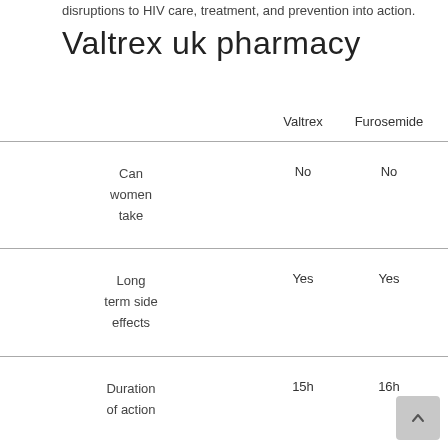disruptions to HIV care, treatment, and prevention into action.
Valtrex uk pharmacy
|  | Valtrex | Furosemide | Diltiazem | S |
| --- | --- | --- | --- | --- |
| Can women take | No | No | No |  |
| Long term side effects | Yes | Yes | Yes |  |
| Duration of action | 15h | 16h | 5h |  |